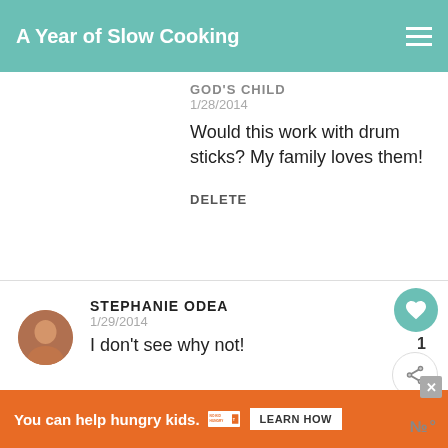A Year of Slow Cooking
GOD'S CHILD
1/28/2014
Would this work with drum sticks? My family loves them!
DELETE
STEPHANIE ODEA
1/29/2014
I don't see why not!
1
WHAT'S NEXT → Best Slow Cooker...
You can help hungry kids. NO KID HUNGRY LEARN HOW